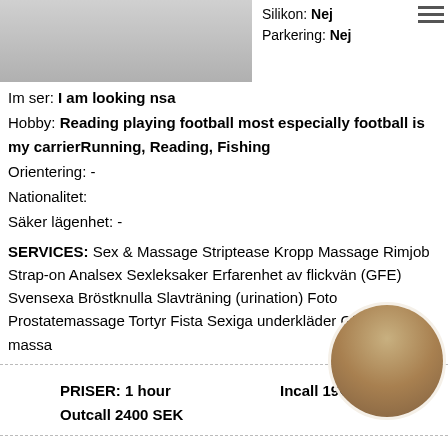[Figure (photo): Cropped photo showing legs/feet at top, partial view]
Silikon: Nej
Parkering: Nej
Im ser: I am looking nsa
Hobby: Reading playing football most especially football is my carrierRunning, Reading, Fishing
Orientering: -
Nationalitet:
Säker lägenhet: -
SERVICES: Sex & Massage Striptease Kropp Massage Rimjob Strap-on Analsex Sexleksaker Erfarenhet av flickvän (GFE) Svensexa Bröstknulla Slavträning (urination) Foto Prostatemassage Tortyr Fista Sexiga underkläder Glidande massa
PRISER: 1 hour   Incall 1900 SEK
Outcall 2400 SEK
[Figure (photo): Circular cropped photo of a woman in teal top and denim shorts]